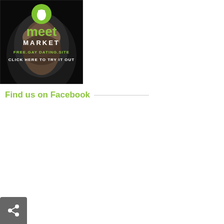[Figure (advertisement): Meet Market advertisement banner - dark background with muscular torso image, green globe logo, text reading 'meet MARKET FREE.GAY DATING.SITE CLICK HERE TO TRY IT OUT']
Find us on Facebook